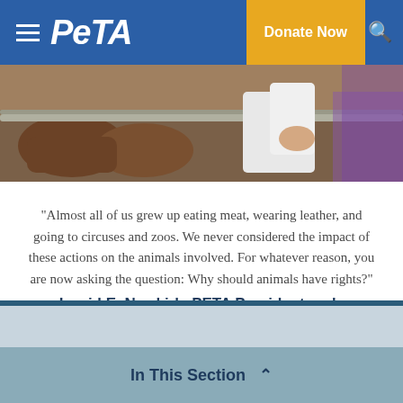PETA
[Figure (photo): A person's hands holding a railing near cattle in what appears to be a farm or livestock setting.]
“Almost all of us grew up eating meat, wearing leather, and going to circuses and zoos. We never considered the impact of these actions on the animals involved. For whatever reason, you are now asking the question: Why should animals have rights?” READ MORE
— Ingrid E. Newkirk, PETA President and co-author of Animalkind
READ MORE
In This Section